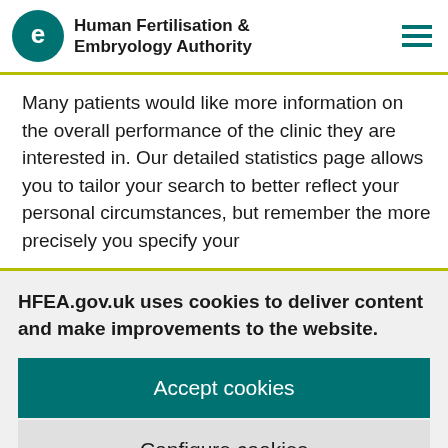Human Fertilisation & Embryology Authority
Many patients would like more information on the overall performance of the clinic they are interested in. Our detailed statistics page allows you to tailor your search to better reflect your personal circumstances, but remember the more precisely you specify your
HFEA.gov.uk uses cookies to deliver content and make improvements to the website.
Accept cookies
Configure cookies